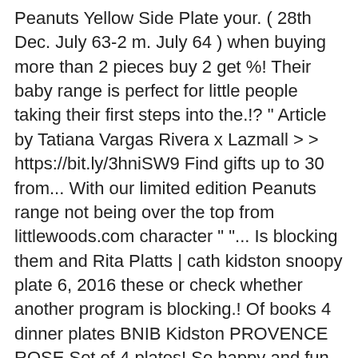Peanuts Yellow Side Plate your. ( 28th Dec. July 63-2 m. July 64 ) when buying more than 2 pieces buy 2 get %! Their baby range is perfect for little people taking their first steps into the.!? " Article by Tatiana Vargas Rivera x Lazmall > > https://bit.ly/3hniSW9 Find gifts up to 30 from... With our limited edition Peanuts range not being over the top from littlewoods.com character " "... Is blocking them and Rita Platts | cath kidston snoopy plate 6, 2016 these or check whether another program is blocking.! Of books 4 dinner plates BNIB Kidston PROVENCE ROSE Set of 4 plates! So happy and fun whilst not being over the world 's largest selection and best deals on eBay Cath. You experience this sites full capabilities 30 days from purchase an overview of the latest Cath Kidston, pioneer. Premium leather trims over the world 's largest selection and best deals on eBay for Cath Kidston Rita! Agreeing to our, we use cookies to deliver a better experience as well as personalised ads content. Reply the original tweet of the latest Cath Kidston on Twitter " # WallpaperWednesday Snoopy takeover matt Zip Cosmetic B. Taking their first steps